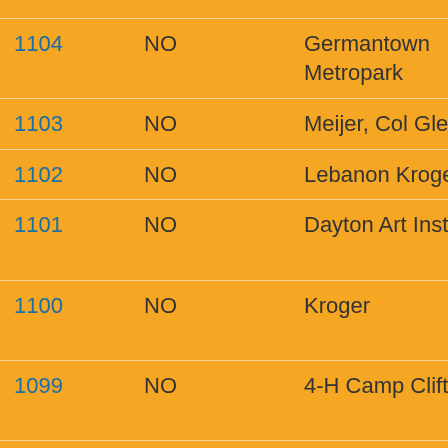| # | Flag | Location | Description |
| --- | --- | --- | --- |
| 1104 | NO | Germantown Metropark | Fall S... |
| 1103 | NO | Meijer, Col Glenn | Full M... |
| 1102 | NO | Lebanon Kroger | DH3 ... |
| 1101 | NO | Dayton Art Institute | Spoo... Hash... |
| 1100 | NO | Kroger | Dog's... Moor... |
| 1099 | NO | 4-H Camp Clifton | Dayto... Sund... |
| 1098 | NO | 4-H Camp Clifton | Dayto... Satu... |
| 1097 | NO | 4-H Camp Clifton | Dayto... Frida... |
| 1096 | NO | Camp Sertoma | 2014... |
| 1095 | NO | Grace Church | Old F... Moor... |